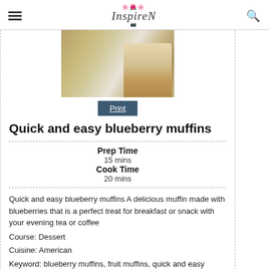InspireN (logo with hamburger menu and search icon)
[Figure (photo): Close-up photo of a blueberry muffin on a decorative plate]
Print
Quick and easy blueberry muffins
Prep Time
15 mins
Cook Time
20 mins
Quick and easy blueberry muffins A delicious muffin made with blueberries that is a perfect treat for breakfast or snack with your evening tea or coffee
Course: Dessert
Cuisine: American
Keyword: blueberry muffins, fruit muffins, quick and easy blueberry muffins
Ingredients